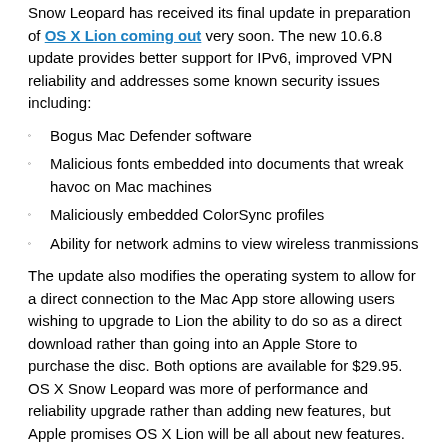Snow Leopard has received its final update in preparation of OS X Lion coming out very soon. The new 10.6.8 update provides better support for IPv6, improved VPN reliability and addresses some known security issues including:
Bogus Mac Defender software
Malicious fonts embedded into documents that wreak havoc on Mac machines
Maliciously embedded ColorSync profiles
Ability for network admins to view wireless tranmissions
The update also modifies the operating system to allow for a direct connection to the Mac App store allowing users wishing to upgrade to Lion the ability to do so as a direct download rather than going into an Apple Store to purchase the disc. Both options are available for $29.95. OS X Snow Leopard was more of performance and reliability upgrade rather than adding new features, but Apple promises OS X Lion will be all about new features.
If updating from 10.6.7, the new update download will be 275.3MB.
Automatic Facebook Update Service
If there was ever one of those times where you can say, "Why didn't I think of that?", this is it! According Procreate Solutions, clients have